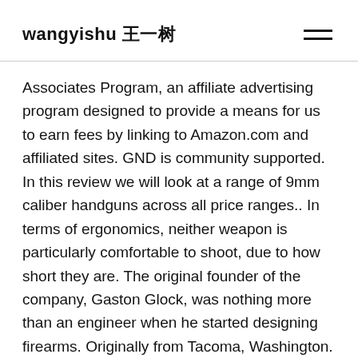wangyishu 王一树
Associates Program, an affiliate advertising program designed to provide a means for us to earn fees by linking to Amazon.com and affiliated sites. GND is community supported. In this review we will look at a range of 9mm caliber handguns across all price ranges.. In terms of ergonomics, neither weapon is particularly comfortable to shoot, due to how short they are. The original founder of the company, Gaston Glock, was nothing more than an engineer when he started designing firearms. Originally from Tacoma, Washington. First up on this list of the best self-defense